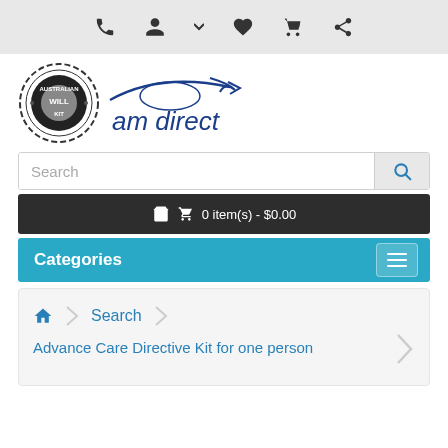Top navigation bar with icons: phone, user, wishlist, cart, share
[Figure (logo): Australian Will Kit logo with circular badge and 'am direct' handwritten text in blue]
Search
0 item(s) - $0.00
Categories
Home > Search > Advance Care Directive Kit for one person